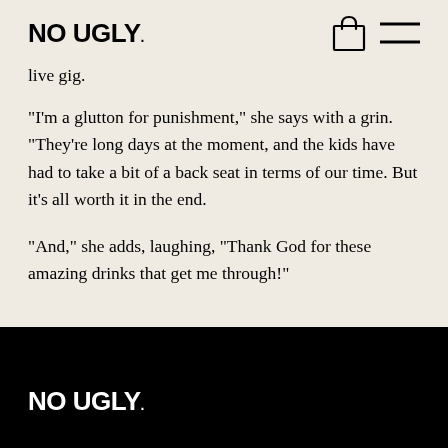NO UGLY.
live gig.
“I’m a glutton for punishment,” she says with a grin. “They’re long days at the moment, and the kids have had to take a bit of a back seat in terms of our time. But it’s all worth it in the end.
“And,” she adds, laughing, “Thank God for these amazing drinks that get me through!”
NO UGLY.